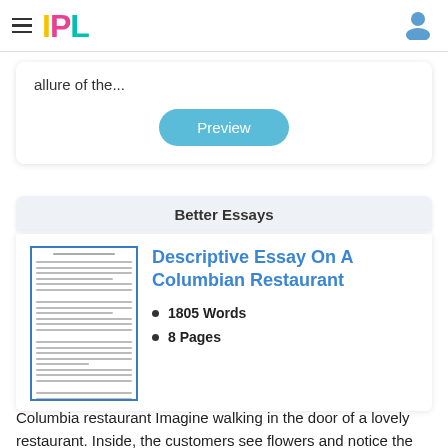IPL
allure of the...
Preview
Better Essays
Descriptive Essay On A Columbian Restaurant
1805 Words
8 Pages
Columbia restaurant Imagine walking in the door of a lovely restaurant. Inside, the customers see flowers and notice the